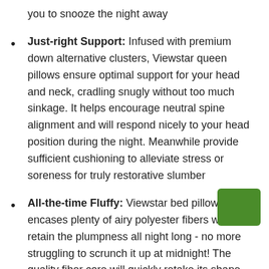you to snooze the night away
Just-right Support: Infused with premium down alternative clusters, Viewstar queen pillows ensure optimal support for your head and neck, cradling snugly without too much sinkage. It helps encourage neutral spine alignment and will respond nicely to your head position during the night. Meanwhile provide sufficient cushioning to alleviate stress or soreness for truly restorative slumber
All-the-time Fluffy: Viewstar bed pillow encases plenty of airy polyester fibers which will retain the plumpness all night long - no more struggling to scrunch it up at midnight! The quality fiber core will quickly retake its shape after you tear yourself away, standing perfectly ready for your next bedtime. Constructed well to resist flattening or clumping for